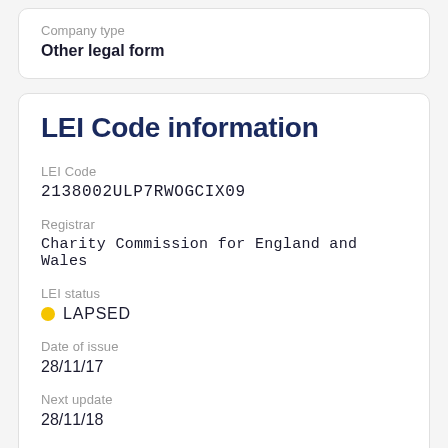Company type
Other legal form
LEI Code information
LEI Code
2138002ULP7RWOGCIX09
Registrar
Charity Commission for England and Wales
LEI status
LAPSED
Date of issue
28/11/17
Next update
28/11/18